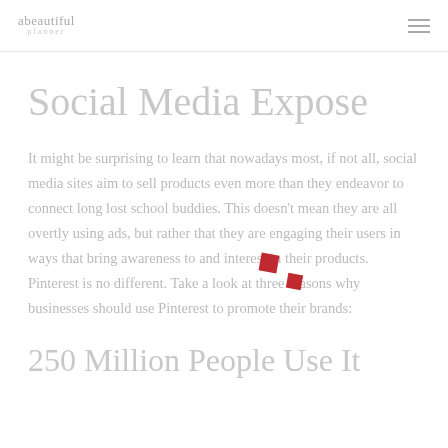abeautiful planner
Social Media Expose
It might be surprising to learn that nowadays most, if not all, social media sites aim to sell products even more than they endeavor to connect long lost school buddies. This doesn't mean they are all overtly using ads, but rather that they are engaging their users in ways that bring awareness to and interest in their products. Pinterest is no different. Take a look at three reasons why businesses should use Pinterest to promote their brands:
250 Million People Use It